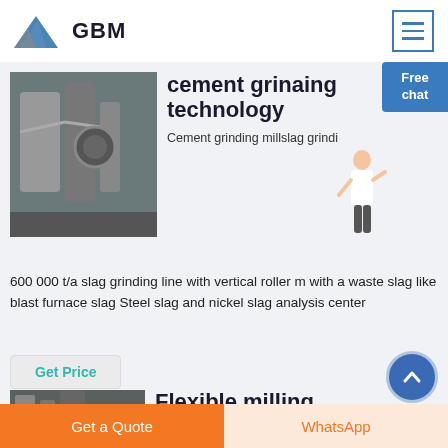GBM
cement grinaing technology
[Figure (photo): Industrial cement grinding machinery/equipment in a factory setting]
Cement grinding millslag grindi 600 000 t/a slag grinding line with vertical roller m with a waste slag like blast furnace slag Steel slag and nickel slag analysis center
Get Price
Flexible milling
[Figure (photo): Industrial milling equipment/machinery]